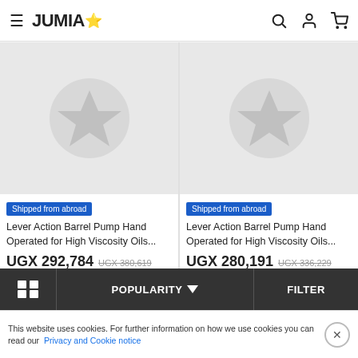JUMIA (logo with star)
[Figure (screenshot): Product image placeholder with star icon on grey background - left product]
Shipped from abroad
Lever Action Barrel Pump Hand Operated for High Viscosity Oils...
UGX 292,784  UGX 380,619
ADD TO CART
[Figure (screenshot): Product image placeholder with star icon on grey background - right product]
Shipped from abroad
Lever Action Barrel Pump Hand Operated for High Viscosity Oils...
UGX 280,191  UGX 336,229
ADD TO CART
POPULARITY  FILTER
This website uses cookies. For further information on how we use cookies you can read our Privacy and Cookie notice